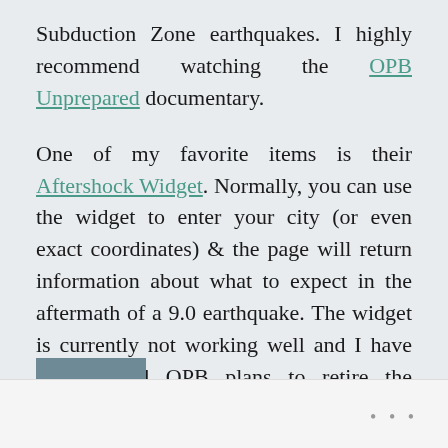Subduction Zone earthquakes. I highly recommend watching the OPB Unprepared documentary.
One of my favorite items is their Aftershock Widget. Normally, you can use the widget to enter your city (or even exact coordinates) & the page will return information about what to expect in the aftermath of a 9.0 earthquake. The widget is currently not working well and I have just learned OPB plans to retire the widget. Here are screenshots from their page comparing expectations for Neskowin (coastal city), Salem (valley city), and Bend (city east of the Cascades).
[Figure (screenshot): Partial screenshot strip at the bottom of the page showing a dark header bar]